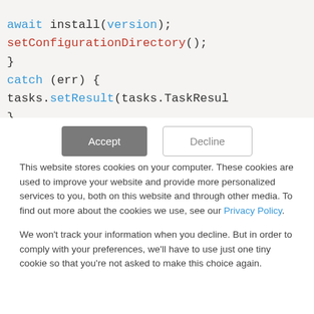[Figure (screenshot): Code snippet showing JavaScript/TypeScript async code with await install(version), setConfigurationDirectory(), catch (err) block with tasks.setResult(tasks.TaskResult...), and closing braces.]
This website stores cookies on your computer. These cookies are used to improve your website and provide more personalized services to you, both on this website and through other media. To find out more about the cookies we use, see our Privacy Policy.

We won't track your information when you decline. But in order to comply with your preferences, we'll have to use just one tiny cookie so that you're not asked to make this choice again.
Accept | Decline